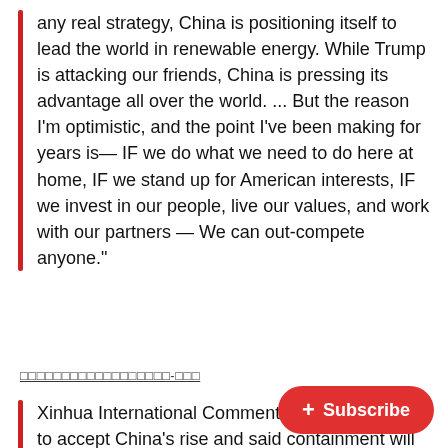any real strategy, China is positioning itself to lead the world in renewable energy. While Trump is attacking our friends, China is pressing its advantage all over the world. ... But the reason I'm optimistic, and the point I've been making for years is— IF we do what we need to do here at home, IF we stand up for American interests, IF we invest in our people, live our values, and work with our partners — We can out-compete anyone."
□□□□□□□□□□□□□□□□□□-□□□
Xinhua International Commentary urges the US to accept China's rise and said containment will not work